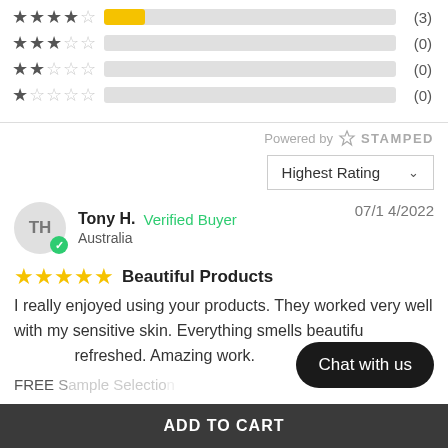[Figure (other): Rating bar rows showing 4-star (3), 3-star (0), 2-star (0), 1-star (0) counts with horizontal bar charts]
Powered by STAMPED
Highest Rating
Tony H. Verified Buyer Australia 07/14/2022
★★★★★ Beautiful Products
I really enjoyed using your products. They worked very well with my sensitive skin. Everything smells beautiful and I truly felt refreshed. Amazing work.
FREE Sample Selection
Chat with us
ADD TO CART